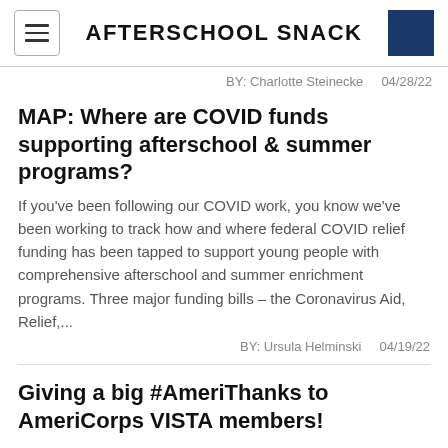AFTERSCHOOL SNACK
BY: Charlotte Steinecke    04/28/22
MAP: Where are COVID funds supporting afterschool & summer programs?
If you've been following our COVID work, you know we've been working to track how and where federal COVID relief funding has been tapped to support young people with comprehensive afterschool and summer enrichment programs. Three major funding bills – the Coronavirus Aid, Relief,...
BY: Ursula Helminski    04/19/22
Giving a big #AmeriThanks to AmeriCorps VISTA members!
It's AmeriCorps Week! Organizations around the